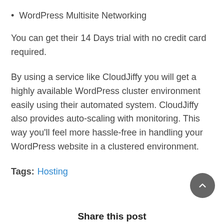WordPress Multisite Networking
You can get their 14 Days trial with no credit card required.
By using a service like CloudJiffy you will get a highly available WordPress cluster environment easily using their automated system. CloudJiffy also provides auto-scaling with monitoring. This way you'll feel more hassle-free in handling your WordPress website in a clustered environment.
Tags: Hosting
Share this post